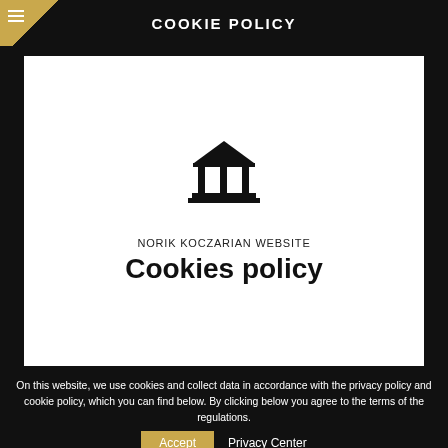COOKIE POLICY
[Figure (illustration): Bank/institution icon: classical building with columns and triangular roof, drawn in black]
NORIK KOCZARIAN WEBSITE
Cookies policy
On this website, we use cookies and collect data in accordance with the privacy policy and cookie policy, which you can find below. By clicking below you agree to the terms of the regulations.
Accept   Privacy Center